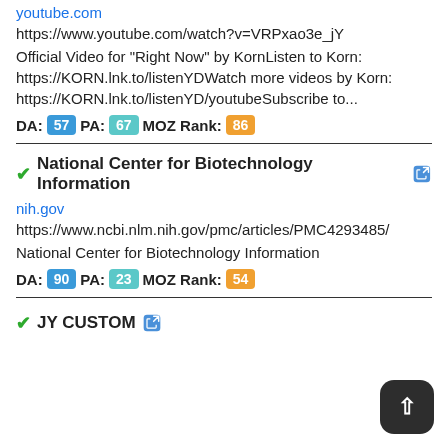youtube.com
https://www.youtube.com/watch?v=VRPxao3e_jY
Official Video for "Right Now" by KornListen to Korn: https://KORN.lnk.to/listenYDWatch more videos by Korn: https://KORN.lnk.to/listenYD/youtubeSubscribe to...
DA: 57  PA: 67  MOZ Rank: 86
National Center for Biotechnology Information
nih.gov
https://www.ncbi.nlm.nih.gov/pmc/articles/PMC4293485/
National Center for Biotechnology Information
DA: 90  PA: 23  MOZ Rank: 54
JY CUSTOM